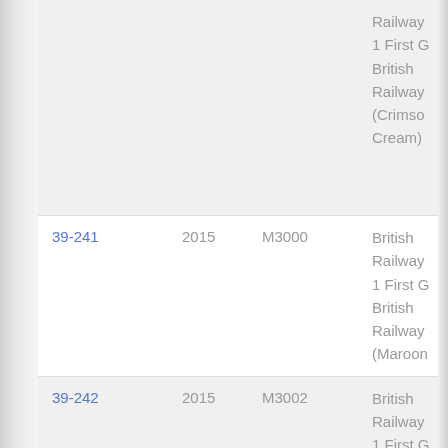| Item | Year | Code | Description |
| --- | --- | --- | --- |
|  |  |  | Railway
1 First G
British
Railway
(Crimso
Cream) |
| 39-241 | 2015 | M3000 | British
Railway
1 First G
British
Railway
(Maroon |
| 39-242 | 2015 | M3002 | British
Railway
1 First G
British R
(Blue... |